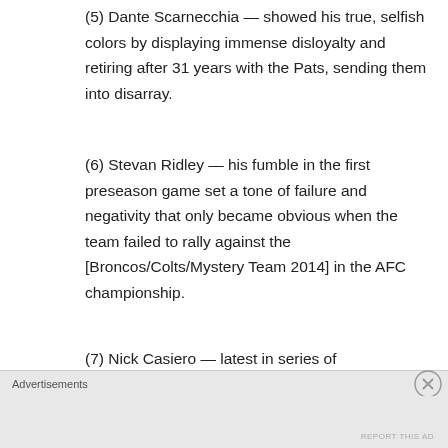(5) Dante Scarnecchia — showed his true, selfish colors by displaying immense disloyalty and retiring after 31 years with the Pats, sending them into disarray.
(6) Stevan Ridley — his fumble in the first preseason game set a tone of failure and negativity that only became obvious when the team failed to rally against the [Broncos/Colts/Mystery Team 2014] in the AFC championship.
(7) Nick Casiero — latest in series of
Advertisements